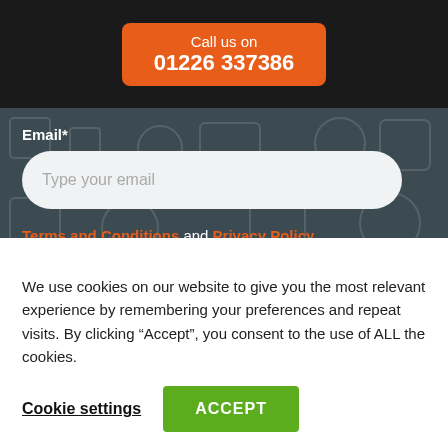Call us on 01226 337386
Email*
Type your email
Terms and Conditions and Privacy Policy
Consent*
By checking this box you confirm that you agree to our Terms and Conditions and Privacy Policy and you agree
We use cookies on our website to give you the most relevant experience by remembering your preferences and repeat visits. By clicking “Accept”, you consent to the use of ALL the cookies.
Cookie settings
ACCEPT